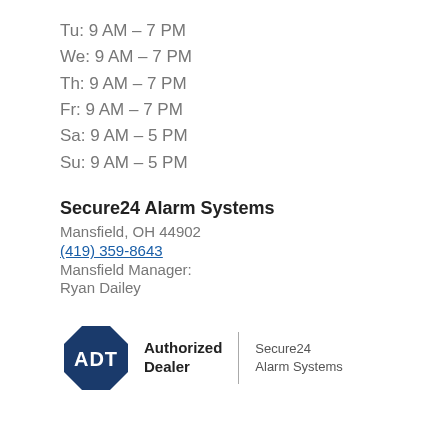Tu: 9 AM – 7 PM
We: 9 AM – 7 PM
Th: 9 AM – 7 PM
Fr: 9 AM – 7 PM
Sa: 9 AM – 5 PM
Su: 9 AM – 5 PM
Secure24 Alarm Systems
Mansfield, OH 44902
(419) 359-8643
Mansfield Manager:
Ryan Dailey
[Figure (logo): ADT Authorized Dealer logo with dark blue octagon containing 'ADT' text, followed by 'Authorized Dealer' text, a vertical divider, and 'Secure24 Alarm Systems' text]